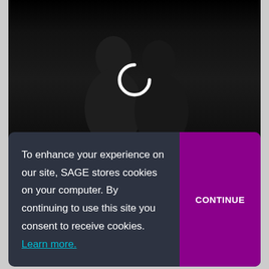[Figure (screenshot): Dark video player area showing two people in a dimly lit room with a white circular loading spinner centered on top]
To enhance your experience on our site, SAGE stores cookies on your computer. By continuing to use this site you consent to receive cookies. Learn more.